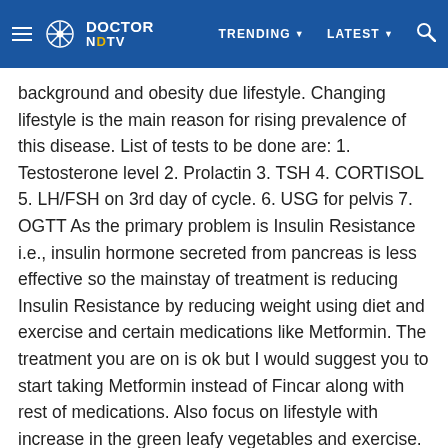DOCTOR NDTV | TRENDING | LATEST
background and obesity due lifestyle. Changing lifestyle is the main reason for rising prevalence of this disease. List of tests to be done are: 1. Testosterone level 2. Prolactin 3. TSH 4. CORTISOL 5. LH/FSH on 3rd day of cycle. 6. USG for pelvis 7. OGTT As the primary problem is Insulin Resistance i.e., insulin hormone secreted from pancreas is less effective so the mainstay of treatment is reducing Insulin Resistance by reducing weight using diet and exercise and certain medications like Metformin. The treatment you are on is ok but I would suggest you to start taking Metformin instead of Fincar along with rest of medications. Also focus on lifestyle with increase in the green leafy vegetables and exercise. You must note that you are overweight at least by 10-12 kg so you should seriously concentrate on this aspect. There are very high chances that with above regimen you will